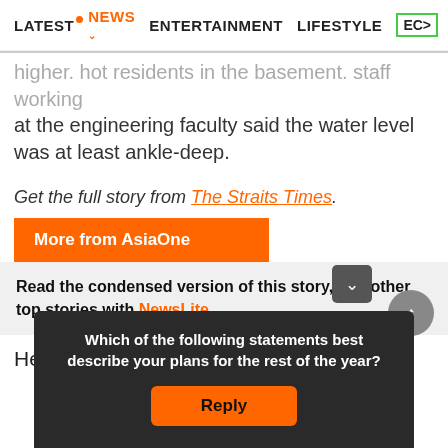LATEST | NEWS | ENTERTAINMENT | LIFESTYLE | EC>
higher. Hot residents in the basement. staff working at the engineering faculty said the water level was at least ankle-deep.
[Figure (photo): Broken/missing image placeholder]
Get the full story from The Straits Times.
More from AsiaOne
Read the condensed version of this story, and other top stories with NewsLite.
Here's the press release from PUB:
Which of the following statements best describe your plans for the rest of the year?